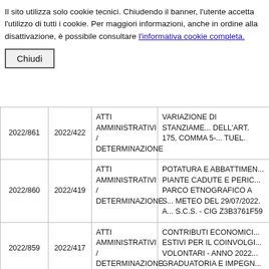Il sito utilizza solo cookie tecnici. Chiudendo il banner, l'utente accetta l'utilizzo di tutti i cookie. Per maggiori informazioni, anche in ordine alla disattivazione, è possibile consultare l'informativa cookie completa.
|  |  | ATTI AMMINISTRATIVI / DETERMINAZIONE |  |
| --- | --- | --- | --- |
| 2022/861 | 2022/422 | ATTI AMMINISTRATIVI / DETERMINAZIONE | VARIAZIONE DI STANZIAME... DELL'ART. 175, COMMA 5-... TUEL. |
| 2022/860 | 2022/419 | ATTI AMMINISTRATIVI / DETERMINAZIONE | POTATURA E ABBATTIMEN... PIANTE CADUTE E PERIC... PARCO ETNOGRAFICO A S... METEO DEL 29/07/2022. A... S.C.S. - CIG Z3B3761F59 |
| 2022/859 | 2022/417 | ATTI AMMINISTRATIVI / DETERMINAZIONE | CONTRIBUTI ECONOMICI... ESTIVI PER IL COINVOLGI... VOLONTARI - ANNO 2022... GRADUATORIA E IMPEGN... |
| 2022/858 | 2022/418 | ATTI AMMINISTRATIVI / | PRESA D'ATTO DELLA CES... PARTE DI TELECOM ITALIA... |